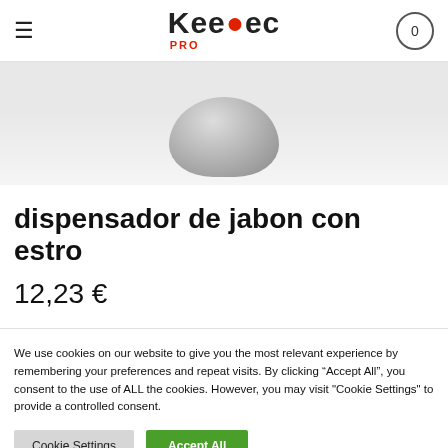Keedec PRO
[Figure (photo): Product image showing top portion of a soap dispenser with a rounded grey/silver cap against a light grey background]
dispensador de jabon con estro
12,23 €
We use cookies on our website to give you the most relevant experience by remembering your preferences and repeat visits. By clicking “Accept All”, you consent to the use of ALL the cookies. However, you may visit "Cookie Settings" to provide a controlled consent.